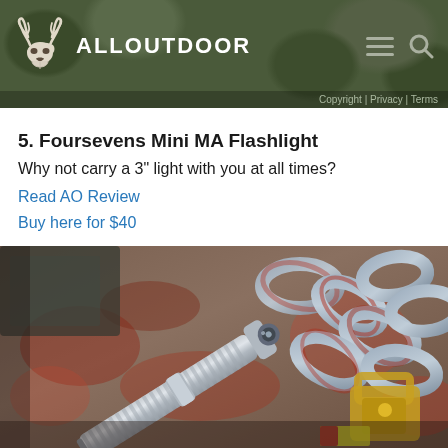ALLOUTDOOR | Copyright | Privacy | Terms
5. Foursevens Mini MA Flashlight
Why not carry a 3" light with you at all times?
Read AO Review
Buy here for $40
[Figure (photo): A small silver/titanium knurled flashlight lying on a rusty metal surface next to heavy rusty chain links and a padlock]